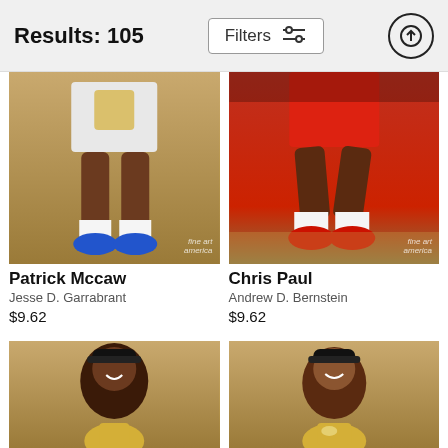Results: 105
[Figure (photo): Photo of Patrick Mccaw basketball player legs holding trophy, fine art america watermark]
Patrick Mccaw
Jesse D. Garrabrant
$9.62
[Figure (photo): Photo of Chris Paul basketball player running in red uniform on court, fine art america watermark]
Chris Paul
Andrew D. Bernstein
$9.62
[Figure (photo): Photo of basketball player (Kevin Durant) smiling holding trophy, partial view cropped]
[Figure (photo): Photo of basketball player (Stephen Curry) holding trophy, partial view cropped]